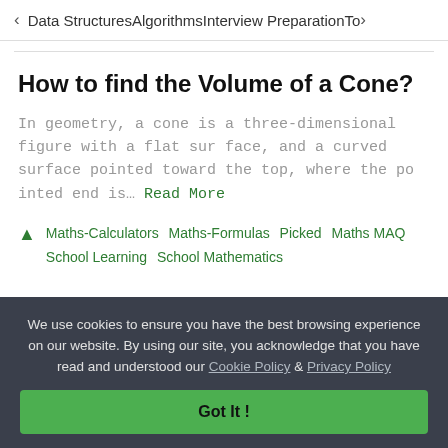< Data Structures   Algorithms   Interview Preparation   To>
How to find the Volume of a Cone?
In geometry, a cone is a three-dimensional figure with a flat sur face, and a curved surface pointed toward the top, where the po inted end is… Read More
Maths-Calculators   Maths-Formulas   Picked   Maths MAQ   School Learning   School Mathematics
We use cookies to ensure you have the best browsing experience on our website. By using our site, you acknowledge that you have read and understood our Cookie Policy & Privacy Policy
Got It !